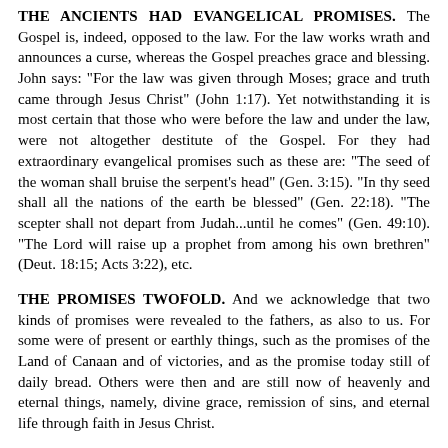THE ANCIENTS HAD EVANGELICAL PROMISES. The Gospel is, indeed, opposed to the law. For the law works wrath and announces a curse, whereas the Gospel preaches grace and blessing. John says: "For the law was given through Moses; grace and truth came through Jesus Christ" (John 1:17). Yet notwithstanding it is most certain that those who were before the law and under the law, were not altogether destitute of the Gospel. For they had extraordinary evangelical promises such as these are: "The seed of the woman shall bruise the serpent's head" (Gen. 3:15). "In thy seed shall all the nations of the earth be blessed" (Gen. 22:18). "The scepter shall not depart from Judah...until he comes" (Gen. 49:10). "The Lord will raise up a prophet from among his own brethren" (Deut. 18:15; Acts 3:22), etc.
THE PROMISES TWOFOLD. And we acknowledge that two kinds of promises were revealed to the fathers, as also to us. For some were of present or earthly things, such as the promises of the Land of Canaan and of victories, and as the promise today still of daily bread. Others were then and are still now of heavenly and eternal things, namely, divine grace, remission of sins, and eternal life through faith in Jesus Christ.
THE FATHERS ALSO HAD NOT ONLY CARNAL BUT SPIRITUAL PROMISES. Moreover, the ancients had not only external and earthly but also spiritual and heavenly promises in